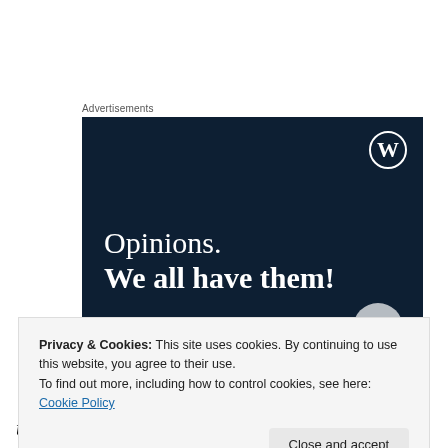Advertisements
[Figure (illustration): WordPress advertisement banner with dark navy background showing 'Opinions. We all have them!' text in white serif font with WordPress logo in top right corner]
Privacy & Cookies: This site uses cookies. By continuing to use this website, you agree to their use.
To find out more, including how to control cookies, see here: Cookie Policy
Close and accept
the border episode, including a formal apology.